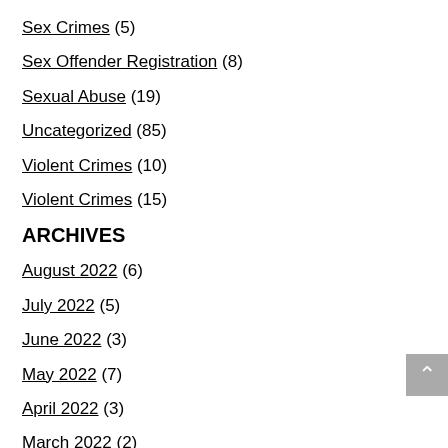Sex Crimes (5)
Sex Offender Registration (8)
Sexual Abuse (19)
Uncategorized (85)
Violent Crimes (10)
Violent Crimes (15)
ARCHIVES
August 2022 (6)
July 2022 (5)
June 2022 (3)
May 2022 (7)
April 2022 (3)
March 2022 (2)